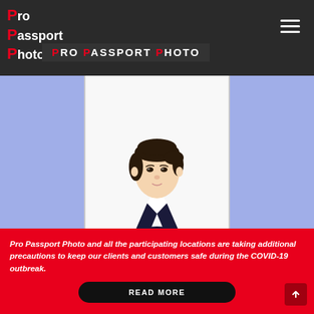[Figure (logo): Pro Passport Photo logo with red P letters stacked on left and white text, plus navigation hamburger menu on right, dark background header]
[Figure (photo): Passport-style photo of a young Asian woman in dark blazer against white background, displayed within a white bordered frame on a periwinkle/cornflower blue background]
Pro Passport Photo and all the participating locations are taking additional precautions to keep our clients and customers safe during the COVID-19 outbreak.
READ MORE